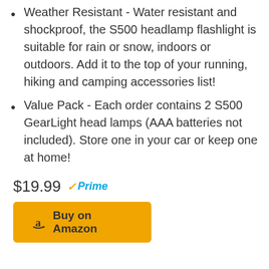Weather Resistant - Water resistant and shockproof, the S500 headlamp flashlight is suitable for rain or snow, indoors or outdoors. Add it to the top of your running, hiking and camping accessories list!
Value Pack - Each order contains 2 S500 GearLight head lamps (AAA batteries not included). Store one in your car or keep one at home!
$19.99 ✓Prime
Buy on Amazon